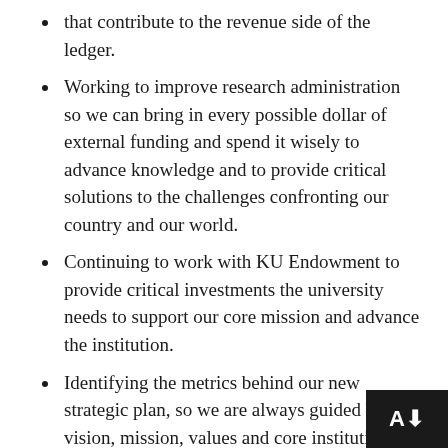that contribute to the revenue side of the ledger.
Working to improve research administration so we can bring in every possible dollar of external funding and spend it wisely to advance knowledge and to provide critical solutions to the challenges confronting our country and our world.
Continuing to work with KU Endowment to provide critical investments the university needs to support our core mission and advance the institution.
Identifying the metrics behind our new strategic plan, so we are always guided by our vision, mission, values and core institutional priorities to ensure that every action we take advances us toward the future we aspire to create, and we monitoring our work to ensure that our actions lead to the outcomes we intend to produce.